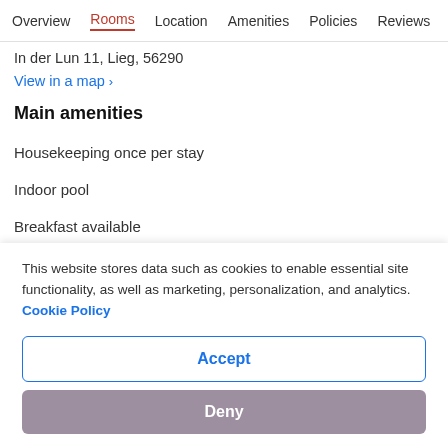Overview | Rooms | Location | Amenities | Policies | Reviews
In der Lun 11, Lieg, 56290
View in a map >
Main amenities
Housekeeping once per stay
Indoor pool
Breakfast available
Terrace
Garden
Front desk safe
This website stores data such as cookies to enable essential site functionality, as well as marketing, personalization, and analytics. Cookie Policy
Accept
Deny